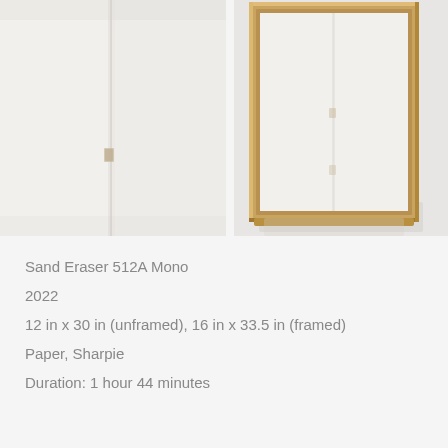[Figure (photo): Two photographs side by side of an artwork titled Sand Eraser 512A Mono. Left image shows a close-up of white folded or creased paper with a small eraser mark visible near center. Right image shows the same work in a gold/wooden frame, displayed vertically, showing the full framed artwork against a light background.]
Sand Eraser 512A Mono
2022
12 in x 30 in (unframed), 16 in x 33.5 in (framed)
Paper, Sharpie
Duration: 1 hour 44 minutes